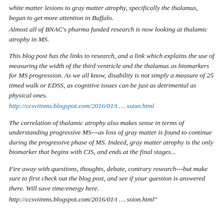white matter lesions to gray matter atrophy, specifically the thalamus, begun to get more attention in Buffalo.
Almost all of BNAC's pharma funded research is now looking at thalamic atrophy in MS.
This blog post has the links to research, and a link which explains the use of measuring the width of the third ventricle and the thalamus as biomarkers for MS progression. As we all know, disability is not simply a measure of 25 timed walk or EDSS, as cognitive issues can be just as detrimental as physical ones.
http://ccsviinms.blogspot.com/2016/01/t ... ssion.html
The correlation of thalamic atrophy also makes sense in terms of understanding progressive MS---as loss of gray matter is found to continue during the progressive phase of MS. Indeed, gray matter atrophy is the only biomarker that begins with CIS, and ends at the final stages...
Fire away with questions, thoughts, debate, contrary research---but make sure to first check out the blog post, and see if your question is answered there. Will save time/energy here.
http://ccsviinms.blogspot.com/2016/01/t ... ssion.html"